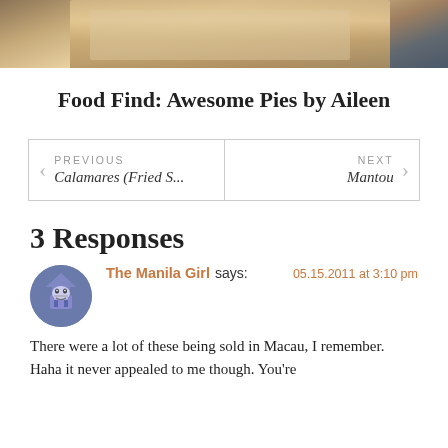[Figure (photo): Top portion of a food photo showing packaged pies]
Food Find: Awesome Pies by Aileen
PREVIOUS Calamares (Fried S... NEXT Mantou
3 Responses
The Manila Girl says:  05.15.2011 at 3:10 pm  There were a lot of these being sold in Macau, I remember. Haha it never appealed to me though. You're